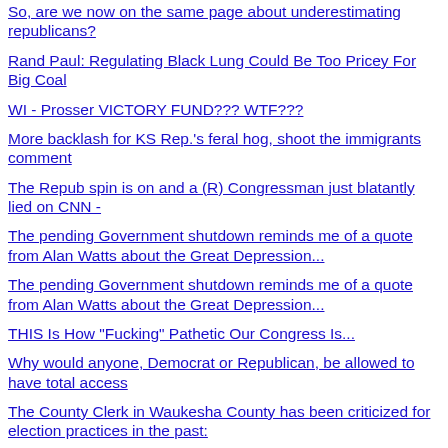So, are we now on the same page about underestimating republicans?
Rand Paul: Regulating Black Lung Could Be Too Pricey For Big Coal
WI - Prosser VICTORY FUND??? WTF???
More backlash for KS Rep.'s feral hog, shoot the immigrants comment
The Repub spin is on and a (R) Congressman just blatantly lied on CNN -
The pending Government shutdown reminds me of a quote from Alan Watts about the Great Depression...
The pending Government shutdown reminds me of a quote from Alan Watts about the Great Depression...
THIS Is How "Fucking" Pathetic Our Congress Is...
Why would anyone, Democrat or Republican, be allowed to have total access
The County Clerk in Waukesha County has been criticized for election practices in the past:
Why Didn't Republicans Propose $7 Trillion In Cuts When They Were In Charge?
I think the magic 7000 'found' votes are to avoid a recount.
I just got home. What the fuck happened in Wisconsin?
Announcement coming on Waukesha County votes that could further